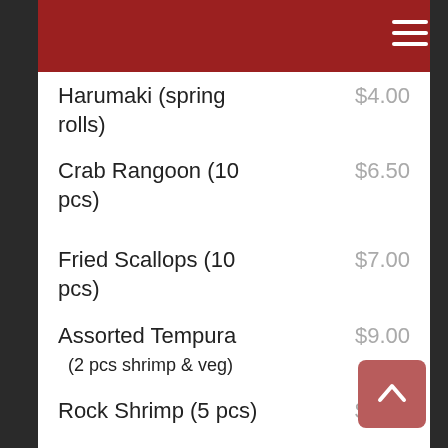Harumaki (spring rolls) $4.00
Crab Rangoon (10 pcs) $6.50
Fried Scallops (10 pcs) $7.00
Assorted Tempura (2 pcs shrimp & veg) $9.00
Rock Shrimp (5 pcs) $6.50
Coconut Shrimp (5 pcs) $6.50
Krab Bites (6pcs) $7.00
Fried Dough (10 pcs) $7.00
Chicken Katsu $7.00